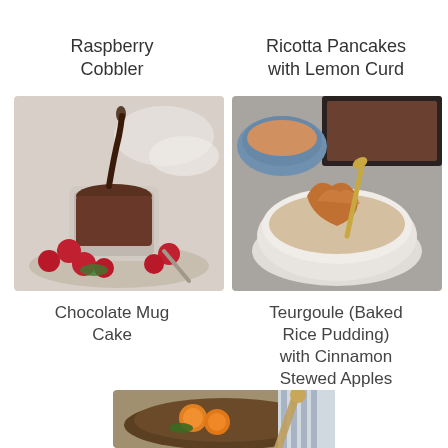Raspberry Cobbler
Ricotta Pancakes with Lemon Curd
[Figure (photo): Chocolate mug cake with raspberry garnish, chocolate sauce being poured]
[Figure (photo): Teurgoule baked rice pudding with cinnamon stewed apples in a white bowl]
Chocolate Mug Cake
Teurgoule (Baked Rice Pudding) with Cinnamon Stewed Apples
[Figure (photo): Partial view of a dessert with citrus slices]